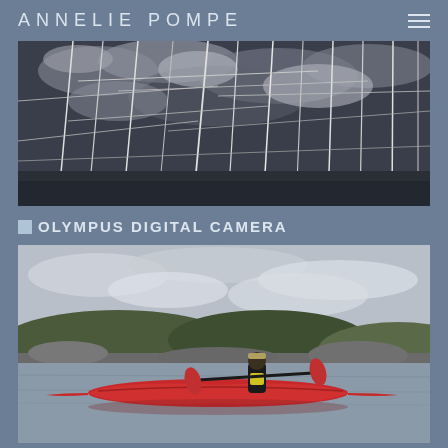ANNELIE POMPE
[Figure (photo): Photo of sailboat masts against a dramatic cloudy sky, high-contrast black and white tones with dark rigging lines crossing the frame]
OLYMPUS DIGITAL CAMERA
[Figure (photo): Photo of a person in a red sea kayak on calm water, with rocky shoreline and trees in the background under an overcast sky]